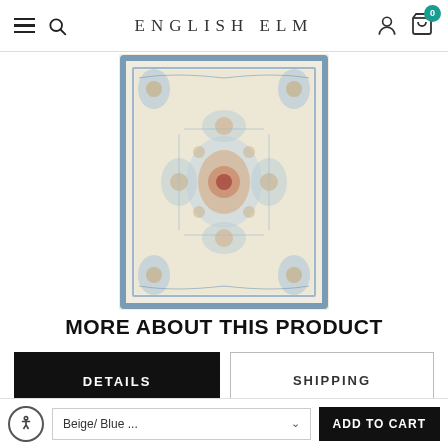ENGLISH ELM
[Figure (photo): A decorative area rug with a medallion design featuring pastel blue, beige, and orange tones in a traditional/vintage Persian style pattern.]
MORE ABOUT THIS PRODUCT
DETAILS | SHIPPING (tab buttons)
The Xanadu collection spotlights saturated pastel shades of
Beige/ Blue ...
ADD TO CART